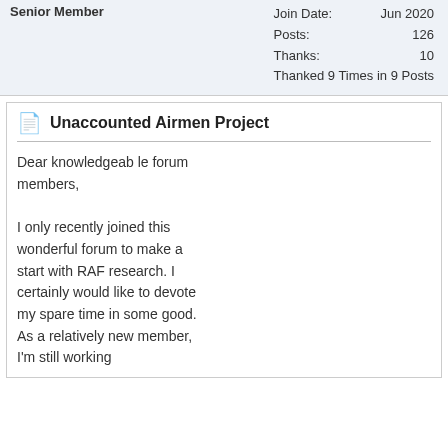Senior Member
| Join Date: | Jun 2020 |
| Posts: | 126 |
| Thanks: | 10 |
| Thanked 9 Times in 9 Posts |  |
Unaccounted Airmen Project
Dear knowledgeable forum members,

I only recently joined this wonderful forum to make a start with RAF research. I certainly would like to devote my spare time in some good. As a relatively new member, I'm still working